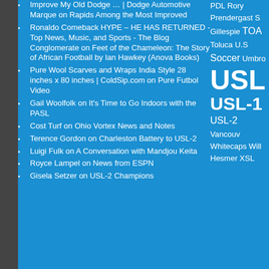Improve My Old Dodge … | Dodge Automotive Marque on Rapids Among the Most Improved
Ronaldo Comeback HYPE – HE HAS RETURNED - Top News, Music, and Sports - The Blog Conglomerate on Feet of the Chameleon: The Story of African Football by Ian Hawkey (Anova Books)
Pure Wool Scarves and Wraps India Style 28 inches x 80 inches | ColdSip.com on Pure Futbol Video
Gail Woolfolk on It's Time to Go Indoors with the PASL
Cost Turf on Ohio Vortex News and Notes
Terence Gordon on Charleston Battery to USL-2
Luigi Fulk on A Conversation with Mandjou Keita
Royce Lampel on News from ESPN
Gisela Setzer on USL-2 Champions
PDL Rory Prendergast S Gillespie TOA Toluca U.S Soccer Umbro USL USL-1 USL-2 Vancouv Whitecaps Will Hesmer XSL